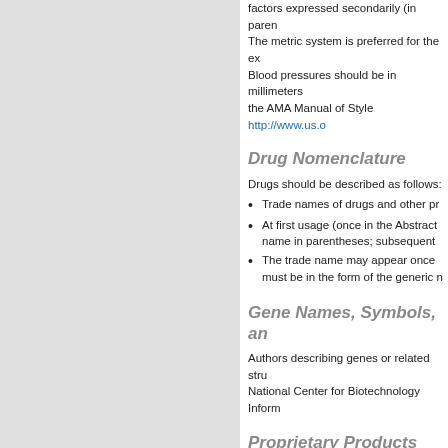factors expressed secondarily (in parentheses). The metric system is preferred for the ex... Blood pressures should be in millimeters... the AMA Manual of Style http://www.us.o...
Drug Nomenclature
Drugs should be described as follows:
Trade names of drugs and other pr...
At first usage (once in the Abstract... name in parentheses; subsequent...
The trade name may appear once... must be in the form of the generic n...
Gene Names, Symbols, an...
Authors describing genes or related stru... National Center for Biotechnology Inform...
Proprietary Products
Authors should use nonproprietary name... proprietary product is cited, the name an...
Manuscript Style
Manuscripts – including tables, illustratio...